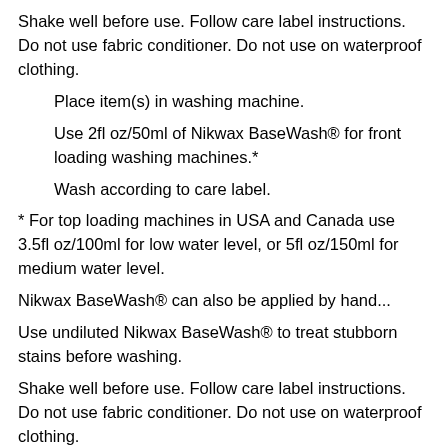Shake well before use. Follow care label instructions. Do not use fabric conditioner. Do not use on waterproof clothing.
Place item(s) in washing machine.
Use 2fl oz/50ml of Nikwax BaseWash® for front loading washing machines.*
Wash according to care label.
* For top loading machines in USA and Canada use 3.5fl oz/100ml for low water level, or 5fl oz/150ml for medium water level.
Nikwax BaseWash® can also be applied by hand...
Use undiluted Nikwax BaseWash® to treat stubborn stains before washing.
Shake well before use. Follow care label instructions. Do not use fabric conditioner. Do not use on waterproof clothing.
Immerse item(s) in hand-hot water in sink or bowl.